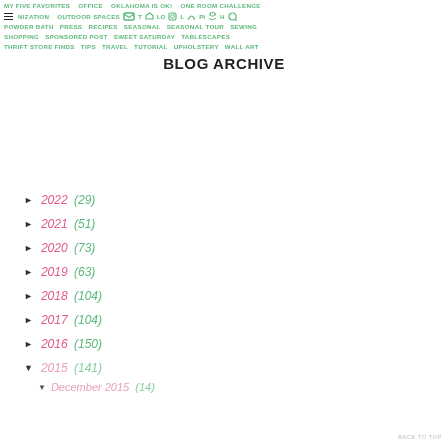MY FIVE FAVORITES   OFFICE   OKLAHOMA IS OK!   ONE ROOM CHALLENGE
ORGANIZATION   OUTDOOR SPACES   OUTFIT   PODCAST   SEARCH
POWDER BATH   PRESS   RECIPES   SEASONAL   SEASONAL TOUR   SEWING
SHOPPING   SPONSORED POST   SWEET SATURDAY   TABLESCAPES
THRIFT STORE FINDS   TIPS   TRAVEL   TUTORIAL   UPHOLSTERY   WALL ART
BLOG ARCHIVE
► 2022 (29)
► 2021 (51)
► 2020 (73)
► 2019 (63)
► 2018 (104)
► 2017 (104)
► 2016 (150)
▼ 2015 (141)
▼ December 2015 (14)
BACK TO TOP